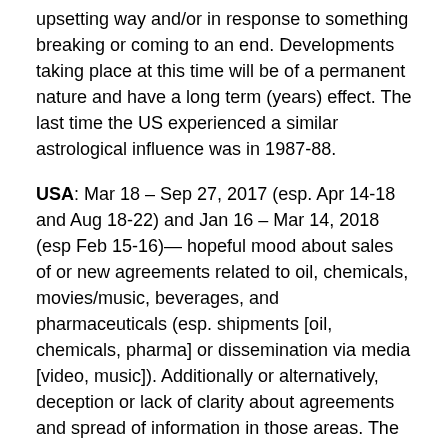upsetting way and/or in response to something breaking or coming to an end. Developments taking place at this time will be of a permanent nature and have a long term (years) effect. The last time the US experienced a similar astrological influence was in 1987-88.
USA: Mar 18 – Sep 27, 2017 (esp. Apr 14-18 and Aug 18-22) and Jan 16 – Mar 14, 2018 (esp Feb 15-16)— hopeful mood about sales of or new agreements related to oil, chemicals, movies/music, beverages, and pharmaceuticals (esp. shipments [oil, chemicals, pharma] or dissemination via media [video, music]). Additionally or alternatively, deception or lack of clarity about agreements and spread of information in those areas. The hopeful expectations may be due to the lack of details or unrealistic representation of the situation. Time when shipments or dissemination of related services and